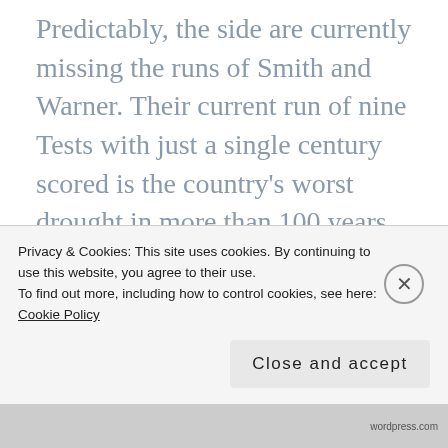Predictably, the side are currently missing the runs of Smith and Warner. Their current run of nine Tests with just a single century scored is the country's worst drought in more than 100 years. Taking out the hundreds scored by Usman Khawaja, Shaun and Mitchell Marsh in Sydney in January, only Khawaja has been able to pass three figures since. Collectively,
Privacy & Cookies: This site uses cookies. By continuing to use this website, you agree to their use.
To find out more, including how to control cookies, see here: Cookie Policy
Close and accept